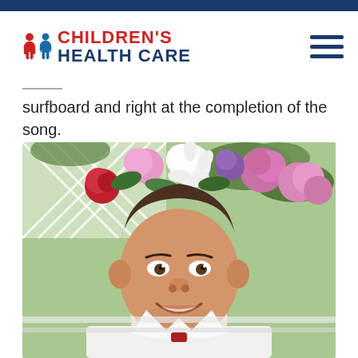[Figure (logo): Children's Health Care logo with two child figures (red and blue) and the text CHILDREN'S HEALTH CARE in red and blue]
surfboard and right at the completion of the song.
[Figure (photo): A smiling man wearing a flower crown with pink roses, white chrysanthemums, and purple flowers, wearing a white shirt, photographed outdoors near a white lattice fence]